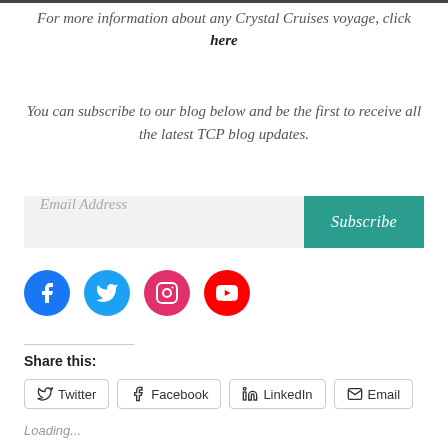For more information about any Crystal Cruises voyage, click here
You can subscribe to our blog below and be the first to receive all the latest TCP blog updates.
[Figure (screenshot): Email subscription form with Email Address input field and Subscribe button]
[Figure (infographic): Social media icons: Facebook (blue), Twitter (light blue), Instagram (pink/magenta), YouTube (red)]
Share this:
Twitter  Facebook  LinkedIn  Email
Loading...